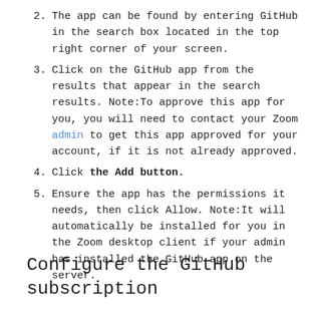2. The app can be found by entering GitHub in the search box located in the top right corner of your screen.
3. Click on the GitHub app from the results that appear in the search results. Note:To approve this app for you, you will need to contact your Zoom admin to get this app approved for your account, if it is not already approved.
4. Click the Add button.
5. Ensure the app has the permissions it needs, then click Allow. Note:It will automatically be installed for you in the Zoom desktop client if your admin has installed the GitHub app on the server.
Configure the GitHub subscription